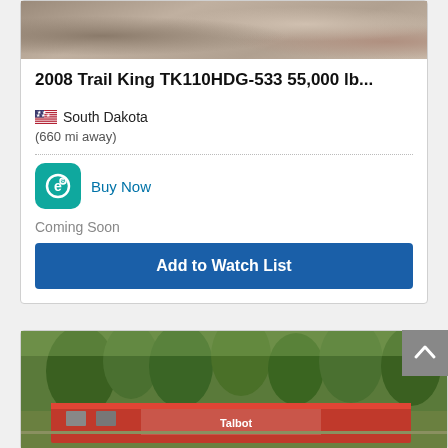[Figure (photo): Top portion of gravel/ground texture photo cropped at top of card]
2008 Trail King TK110HDG-533 55,000 lb...
South Dakota
(660 mi away)
[Figure (logo): eBay/equipment platform gear icon in teal rounded square]
Buy Now
Coming Soon
Add to Watch List
[Figure (photo): Bottom listing card showing red trailer/equipment with green trees in background, partially visible]